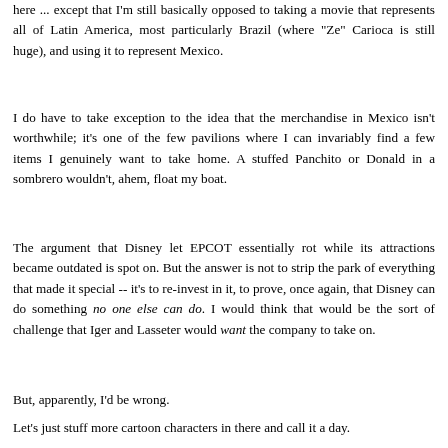here ... except that I'm still basically opposed to taking a movie that represents all of Latin America, most particularly Brazil (where "Ze" Carioca is still huge), and using it to represent Mexico.
I do have to take exception to the idea that the merchandise in Mexico isn't worthwhile; it's one of the few pavilions where I can invariably find a few items I genuinely want to take home. A stuffed Panchito or Donald in a sombrero wouldn't, ahem, float my boat.
The argument that Disney let EPCOT essentially rot while its attractions became outdated is spot on. But the answer is not to strip the park of everything that made it special -- it's to re-invest in it, to prove, once again, that Disney can do something no one else can do. I would think that would be the sort of challenge that Iger and Lasseter would want the company to take on.
But, apparently, I'd be wrong.
Let's just stuff more cartoon characters in there and call it a day.